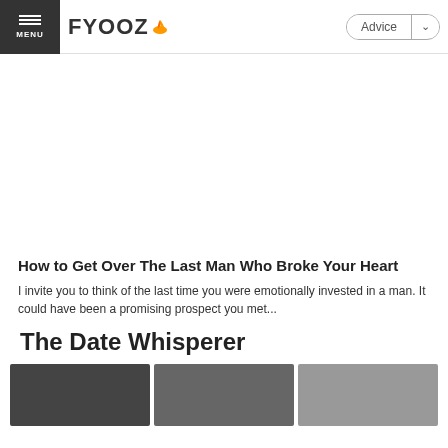MENU | FYOOZ | Advice
[Figure (other): Large blank advertisement or content space]
How to Get Over The Last Man Who Broke Your Heart
I invite you to think of the last time you were emotionally invested in a man. It could have been a promising prospect you met...
The Date Whisperer
[Figure (photo): Row of three thumbnail photos of people]